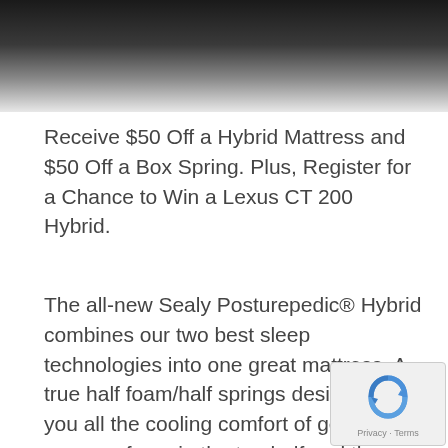[Figure (photo): Dark background photo, likely of a mattress or fabric, visible in top portion of page]
Receive $50 Off a Hybrid Mattress and $50 Off a Box Spring. Plus, Register for a Chance to Win a Lexus CT 200 Hybrid.
The all-new Sealy Posturepedic® Hybrid combines our two best sleep technologies into one great mattress. A true half foam/half springs design gives you all the cooling comfort of gel memory foam in the top half and the deep down support you've come to expect from Sealy Posturepedic in the bottom half. ">50/50 Sale Ever Buy One, Drive One Giveaway!